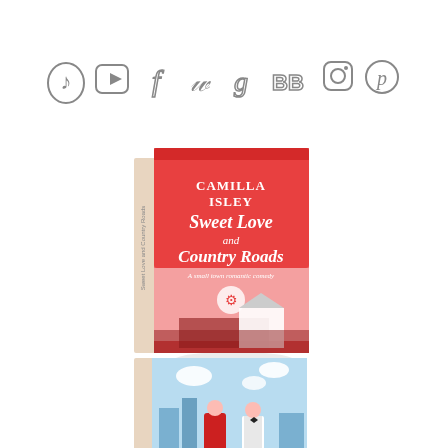[Figure (illustration): Row of eight hand-drawn social media icons: TikTok, YouTube, Facebook, Twitter, Goodreads, BookBub, Instagram, Pinterest]
[Figure (photo): 3D book cover of 'Sweet Love and Country Roads' by Camilla Isley, pink cover with windmill, barn and countryside scene]
[Figure (photo): Partial 3D book cover showing a woman in red dress and man in suit against city skyline background]